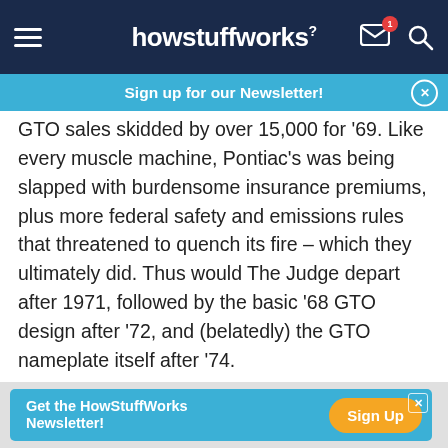howstuffworks
Sign up for our Newsletter!
GTO sales skidded by over 15,000 for '69. Like every muscle machine, Pontiac's was being slapped with burdensome insurance premiums, plus more federal safety and emissions rules that threatened to quench its fire – which they ultimately did. Thus would The Judge depart after 1971, followed by the basic '68 GTO design after '72, and (belatedly) the GTO nameplate itself after '74.
Pontiac has yet to revive either Judge or GTO, and we ought to be grateful for that. Great memories
[Figure (screenshot): Get the HowStuffWorks Newsletter! Sign Up advertisement banner at the bottom]